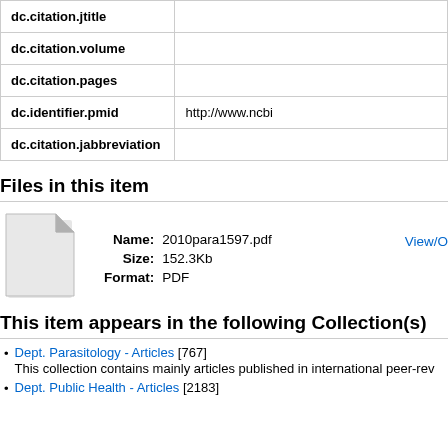| Field | Value |
| --- | --- |
| dc.citation.jtitle |  |
| dc.citation.volume |  |
| dc.citation.pages |  |
| dc.identifier.pmid | http://www.ncbi... |
| dc.citation.jabbreviation |  |
Files in this item
[Figure (illustration): Generic PDF file icon - white page with folded corner]
Name: 2010para1597.pdf  Size: 152.3Kb  Format: PDF
View/O...
This item appears in the following Collection(s)
Dept. Parasitology - Articles [767]
This collection contains mainly articles published in international peer-rev...
Dept. Public Health - Articles [2183]